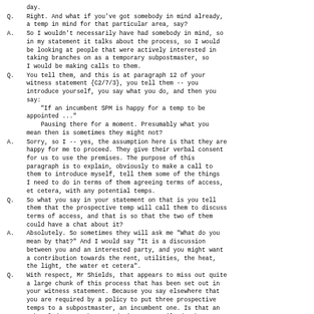day.
Q. Right. And what if you've got somebody in mind already, a temp in mind for that particular area, say?
A. So I wouldn't necessarily have had somebody in mind, so in my statement it talks about the process, so I would be looking at people that were actively interested in taking branches on as a temporary subpostmaster, so I would be making calls to them.
Q. You tell them, and this is at paragraph 12 of your witness statement {C2/7/3}, you tell them -- you introduce yourself, you say what you do, and then you say: "If an incumbent SPM is happy for a temp to be appointed ..." Pausing there for a moment. Presumably what you mean then is sometimes they might not?
A. Sorry, so I -- yes, the assumption here is that they are happy for me to proceed. They give their verbal consent for us to use the premises. The purpose of this paragraph is to explain, obviously to make a call to them to introduce myself, tell them some of the things I need to do in terms of them agreeing terms of access, et cetera, with any potential temps.
Q. So what you say in your statement on that is you tell them that the prospective temp will call them to discuss terms of access, and that is so that the two of them could have a chat about it?
A. Absolutely. So sometimes they will ask me "What do you mean by that?" And I would say "It is a discussion between you and an interested party, and you might want a contribution towards the rent, utilities, the heat, the light, the water et cetera".
Q. With respect, Mr Shields, that appears to miss out quite a large chunk of this process that has been set out in your witness statement. Because you say elsewhere that you are required by a policy to put three prospective temps to a subpostmaster, an incumbent one. Is that an acknowledgement that you don't necessarily do that?